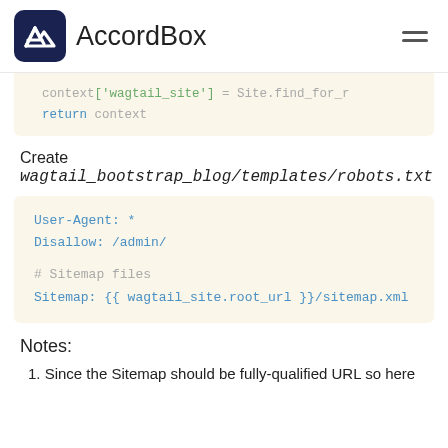AccordBox
context['wagtail_site'] = Site.find_for_r
    return context
Create wagtail_bootstrap_blog/templates/robots.txt
User-Agent: *
Disallow: /admin/

# Sitemap files
Sitemap: {{ wagtail_site.root_url }}/sitemap.xml
Notes:
1. Since the Sitemap should be fully-qualified URL so here